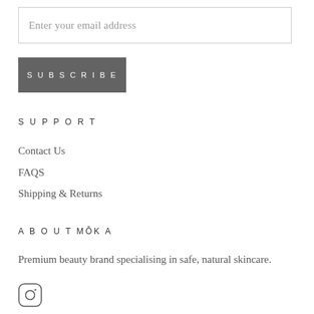Enter your email address
SUBSCRIBE
SUPPORT
Contact Us
FAQS
Shipping & Returns
ABOUT MŌKA
Premium beauty brand specialising in safe, natural skincare.
[Figure (logo): Instagram icon (circle with camera outline)]